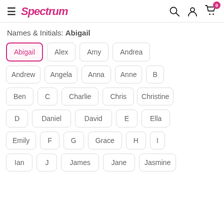[Figure (logo): Spectrum logo in pink cursive/italic font with hamburger menu on left]
Names & Initials: Abigail
Abigail (selected/active)
Alex
Amy
Andrea
Andrew
Angela
Anna
Anne
B
Ben
C
Charlie
Chris
Christine
D
Daniel
David
E
Ella
Emily
F
G
Grace
H
I
Ian
J
James
Jane
Jasmine